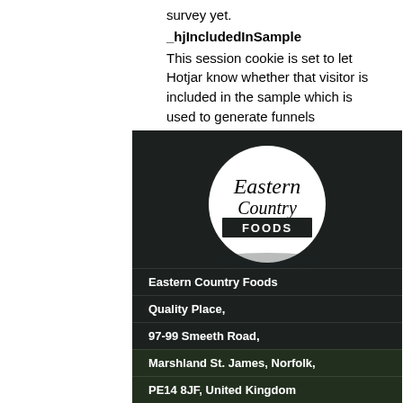survey yet.
_hjIncludedInSample
This session cookie is set to let Hotjar know whether that visitor is included in the sample which is used to generate funnels
[Figure (logo): Eastern Country Foods logo: white circle on dark background with cursive 'Eastern Country Foods' text and bold 'FOODS' on black bar]
Eastern Country Foods
Quality Place,
97-99 Smeeth Road,
Marshland St. James, Norfolk,
PE14 8JF, United Kingdom